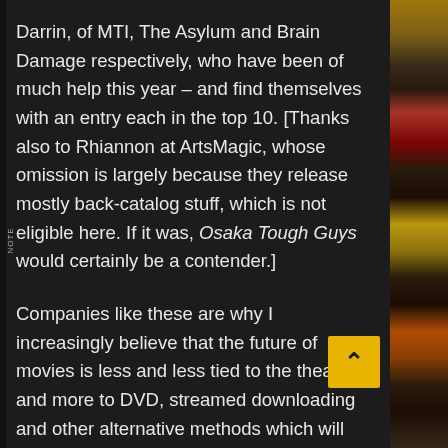Darrin, of MTI, The Asylum and Brain Damage respectively, who have been of much help this year – and find themselves with an entry each in the top 10. [Thanks also to Rhiannon at ArtsMagic, whose omission is largely because they release mostly back-catalog stuff, which is not eligible here. If it was, Osaka Tough Guys would certainly be a contender.]
Companies like these are why I increasingly believe that the future of movies is less and less tied to the theatre, and more to DVD, streamed downloading and other alternative methods which will allow the film-makers largely to bypass conventional distribution methods. All of these should lead to more choice and convenience for consumers to watch what they want, when they want. Though if there is a way for the studios to screw everything up, I'm sure they'll a) find it, and b) blame piracy. Memo to Hollywood: make better movies, and